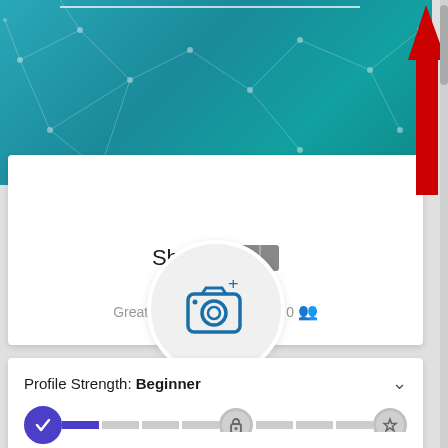[Figure (screenshot): LinkedIn mobile app profile page screenshot showing a teal network banner, profile photo placeholder with camera icon, blurred name 'Sha...', 'Designer at' subtitle, 'Greater Los Angeles Area • 0 connections', Profile Strength: Beginner section with progress bar, and a red arrow annotation pointing upward to the top right]
Sha [redacted]
Designer at
Greater Los Angeles Area • 0
Profile Strength: Beginner